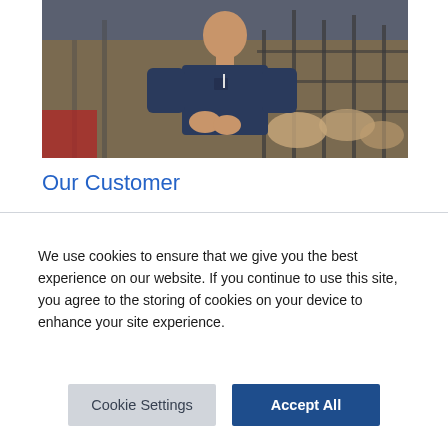[Figure (photo): A person wearing a dark navy blue work shirt standing in what appears to be a livestock farm facility with metal pens and animal structures visible in the background.]
Our Customer
We use cookies to ensure that we give you the best experience on our website. If you continue to use this site, you agree to the storing of cookies on your device to enhance your site experience.